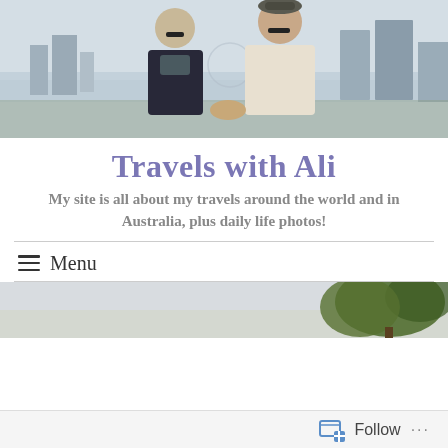[Figure (photo): Two people (a woman and a man) standing together outdoors with a cityscape and water in the background. The woman wears a dark jacket and the man wears a light shirt and cap.]
Travels with Ali
My site is all about my travels around the world and in Australia, plus daily life photos!
Menu
[Figure (photo): Partial view of an outdoor scene with trees and sky, cropped at bottom of page.]
Follow